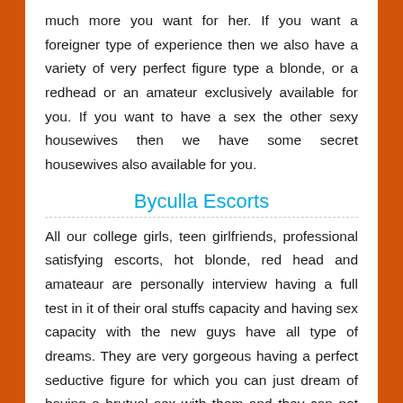much more you want for her. If you want a foreigner type of experience then we also have a variety of very perfect figure type a blonde, or a redhead or an amateur exclusively available for you. If you want to have a sex the other sexy housewives then we have some secret housewives also available for you.
Byculla Escorts
All our college girls, teen girlfriends, professional satisfying escorts, hot blonde, red head and amateaur are personally interview having a full test in it of their oral stuffs capacity and having sex capacity with the new guys have all type of dreams. They are very gorgeous having a perfect seductive figure for which you can just dream of having a brutual sex with them and they can not going to stop you at any moments. If you have a such kind of dream to be